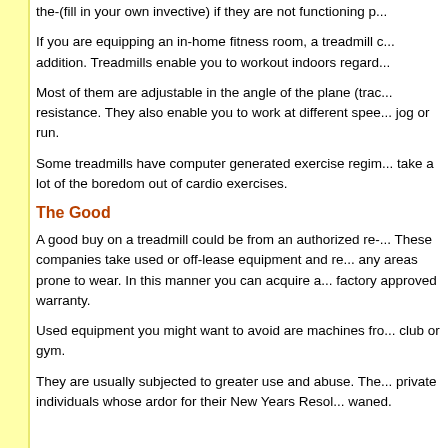the-(fill in your own invective) if they are not functioning p...
If you are equipping an in-home fitness room, a treadmill could be a great addition. Treadmills enable you to workout indoors regard...
Most of them are adjustable in the angle of the plane (trac... resistance. They also enable you to work at different spee... jog or run.
Some treadmills have computer generated exercise regim... take a lot of the boredom out of cardio exercises.
The Good
A good buy on a treadmill could be from an authorized re-... These companies take used or off-lease equipment and re... any areas prone to wear. In this manner you can acquire a... factory approved warranty.
Used equipment you might want to avoid are machines fro... club or gym.
They are usually subjected to greater use and abuse. The... private individuals whose ardor for their New Years Resol... waned.